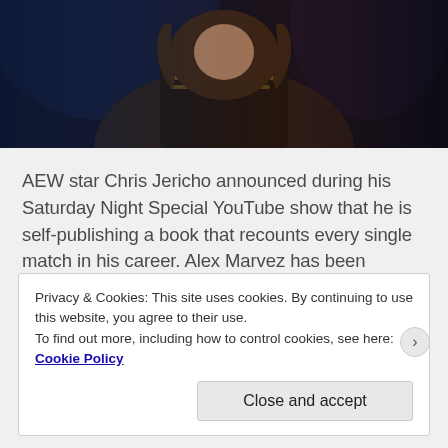[Figure (photo): Chris Jericho performing, wearing a spiked jacket with long hair, on a dark stage with blue/purple lighting]
AEW star Chris Jericho announced during his Saturday Night Special YouTube show that he is self-publishing a book that recounts every single match in his career. Alex Marvez has been working on the project with the “Demo God”. Their goal is to finish the book and release it this October to celebrate the 30th anniversary of Jericho’s debut. This… Read More
Privacy & Cookies: This site uses cookies. By continuing to use this website, you agree to their use.
To find out more, including how to control cookies, see here: Cookie Policy